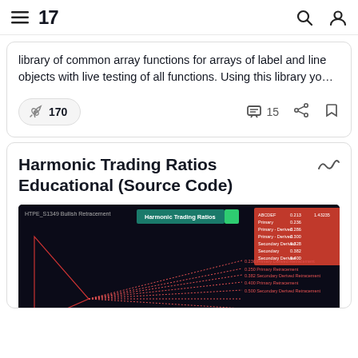TradingView navigation bar with hamburger menu, TV logo, search icon, and user icon
library of common array functions for arrays of label and line objects with live testing of all functions. Using this library yo…
170 boosts · 15 comments
Harmonic Trading Ratios Educational (Source Code)
[Figure (screenshot): Dark-themed trading chart screenshot showing harmonic trading ratios with dotted pattern lines radiating from a point on the left to labeled retracement levels on the right, with a red data table in the upper right corner and 'Harmonic Trading Ratios' label in teal/green.]